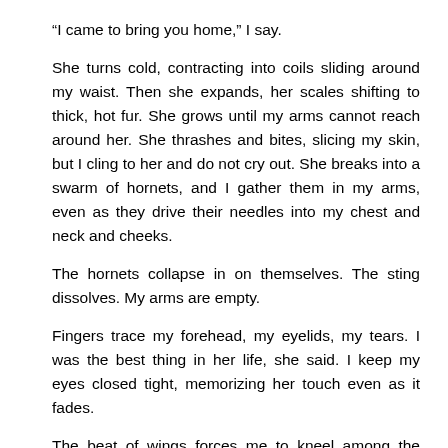“I came to bring you home,” I say.
She turns cold, contracting into coils sliding around my waist. Then she expands, her scales shifting to thick, hot fur. She grows until my arms cannot reach around her. She thrashes and bites, slicing my skin, but I cling to her and do not cry out. She breaks into a swarm of hornets, and I gather them in my arms, even as they drive their needles into my chest and neck and cheeks.
The hornets collapse in on themselves. The sting dissolves. My arms are empty.
Fingers trace my forehead, my eyelids, my tears. I was the best thing in her life, she said. I keep my eyes closed tight, memorizing her touch even as it fades.
The beat of wings forces me to kneel among the leaves churning across the forest floor. The trees thrash in anger. The wind rebels on my behalf, but the swans are stronger.